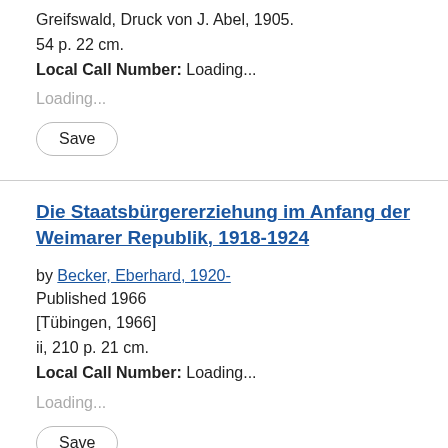Greifswald, Druck von J. Abel, 1905.
54 p. 22 cm.
Local Call Number: Loading...
Loading...
Save
Die Staatsbürgererziehung im Anfang der Weimarer Republik, 1918-1924
by Becker, Eberhard, 1920-
Published 1966
[Tübingen, 1966]
ii, 210 p. 21 cm.
Local Call Number: Loading...
Loading...
Save